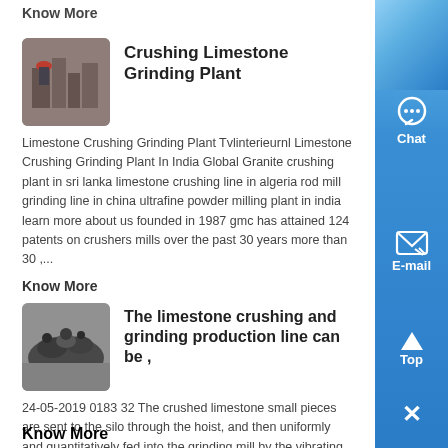Know More
Crushing Limestone Grinding Plant
[Figure (photo): Industrial grinding/crushing machinery with workers in red hard hats]
Limestone Crushing Grinding Plant Tvlinterieurnl Limestone Crushing Grinding Plant In India Global Granite crushing plant in sri lanka limestone crushing line in algeria rod mill grinding line in china ultrafine powder milling plant in india learn more about us founded in 1987 gmc has attained 124 patents on crushers mills over the past 30 years more than 30 ,...
Know More
The limestone crushing and grinding production line can be ,
[Figure (photo): Industrial machinery parts or aggregates piled on a factory floor]
24-05-2019 0183 32 The crushed limestone small pieces are sent to the silo through the hoist, and then uniformly and quantitatively fed into the grinding mill by the vibrating feeder for grinding The fourth stage packaging Packaging and storage of finished materials...
Know More